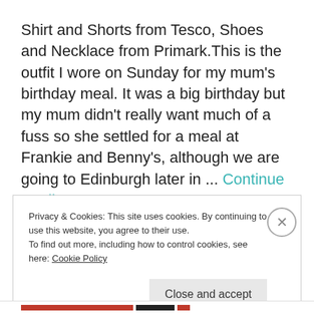Shirt and Shorts from Tesco, Shoes and Necklace from Primark.This is the outfit I wore on Sunday for my mum's birthday meal. It was a big birthday but my mum didn't really want much of a fuss so she settled for a meal at Frankie and Benny's, although we are going to Edinburgh later in ... Continue reading
Privacy & Cookies: This site uses cookies. By continuing to use this website, you agree to their use.
To find out more, including how to control cookies, see here: Cookie Policy
Close and accept